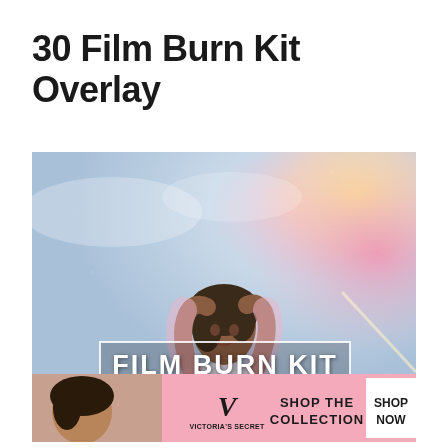30 Film Burn Kit Overlay
[Figure (photo): A person in a sheer pink blouse reaching up with both arms against a dreamy sky background with pink and golden light effects. Over the image is a white-bordered banner reading 'FILM BURN KIT' in large bold white letters and 'PREMIUM OVERLAY' in spaced white text below. A grey 'CLOSE' button appears in the bottom right of the image. A Victoria's Secret advertisement banner is overlaid at the bottom, showing a model, the VS logo, 'SHOP THE COLLECTION' text, and a 'SHOP NOW' white button.]